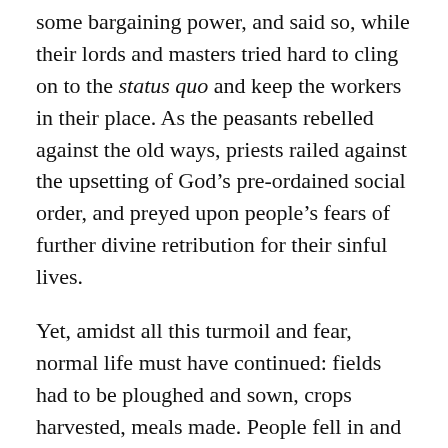some bargaining power, and said so, while their lords and masters tried hard to cling on to the status quo and keep the workers in their place. As the peasants rebelled against the old ways, priests railed against the upsetting of God’s pre-ordained social order, and preyed upon people’s fears of further divine retribution for their sinful lives.
Yet, amidst all this turmoil and fear, normal life must have continued: fields had to be ploughed and sown, crops harvested, meals made. People fell in and out of love. Babies were born and children cherished. Friendships and families were sometimes put under strain. Resentments boiled, some of which found reconciliation